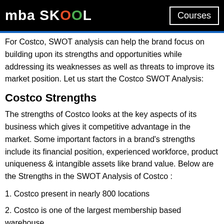mba SKOOL  Courses
For Costco, SWOT analysis can help the brand focus on building upon its strengths and opportunities while addressing its weaknesses as well as threats to improve its market position. Let us start the Costco SWOT Analysis:
Costco Strengths
The strengths of Costco looks at the key aspects of its business which gives it competitive advantage in the market. Some important factors in a brand's strengths include its financial position, experienced workforce, product uniqueness & intangible assets like brand value. Below are the Strengths in the SWOT Analysis of Costco :
1. Costco present in nearly 800 locations
2. Costco is one of the largest membership based warehouse